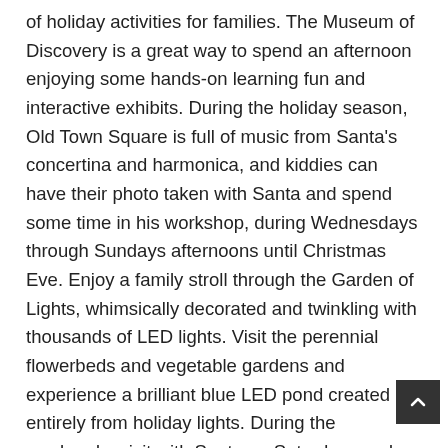of holiday activities for families. The Museum of Discovery is a great way to spend an afternoon enjoying some hands-on learning fun and interactive exhibits. During the holiday season, Old Town Square is full of music from Santa's concertina and harmonica, and kiddies can have their photo taken with Santa and spend some time in his workshop, during Wednesdays through Sundays afternoons until Christmas Eve. Enjoy a family stroll through the Garden of Lights, whimsically decorated and twinkling with thousands of LED lights. Visit the perennial flowerbeds and vegetable gardens and experience a brilliant blue LED pond created entirely from holiday lights. During the weekends, visit with Santa on Saturdays and Sundays listen to holiday music, see the canine troupe known as the Sugar Plum Hairies, and enjoy warm drinks at The Garden's Visitor Center.